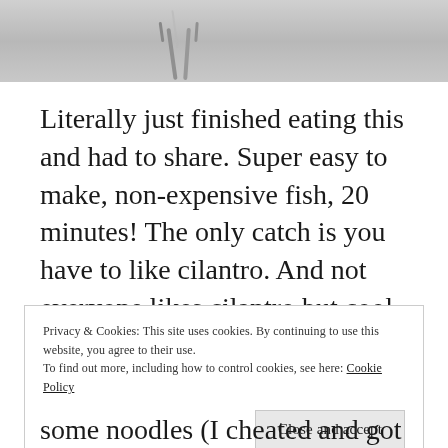[Figure (photo): Photo of metal tweezers or similar tool on a light gray surface, cropped at the top]
Literally just finished eating this and had to share. Super easy to make, non-expensive fish, 20 minutes! The only catch is you have to like cilantro. And not everyone likes cilantro but cool people love cilantro.
Privacy & Cookies: This site uses cookies. By continuing to use this website, you agree to their use.
To find out more, including how to control cookies, see here: Cookie Policy
some noodles (I cheated and got them pre